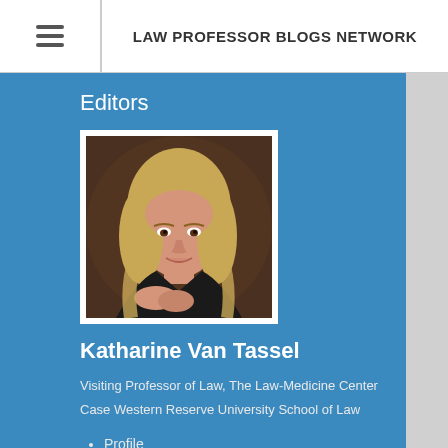LAW PROFESSOR BLOGS NETWORK
Editors
[Figure (photo): Headshot photo of Katharine Van Tassel, a woman with blonde hair wearing a dark blazer, against a dark brown background]
Katharine Van Tassel
Visiting Professor of Law, The Law-Medicine Center
Case Western Reserve University School of Law
Profile
Email
SSRN Author Page